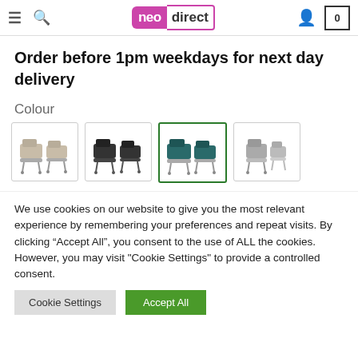neodirect header with hamburger menu, search icon, logo, user icon, cart (0)
Order before 1pm weekdays for next day delivery
Colour
[Figure (photo): Four colour swatches of reclining chairs: grey/beige, black, teal/green (selected), and grey single]
We use cookies on our website to give you the most relevant experience by remembering your preferences and repeat visits. By clicking “Accept All”, you consent to the use of ALL the cookies. However, you may visit "Cookie Settings" to provide a controlled consent.